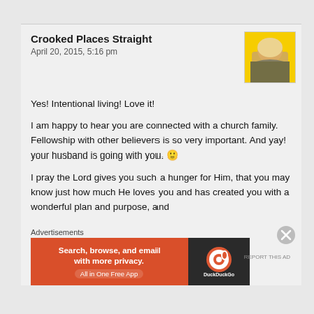Crooked Places Straight
April 20, 2015, 5:16 pm
[Figure (photo): Profile photo of a woman with blonde hair wearing a patterned sweater against a yellow background]
Yes! Intentional living! Love it!
I am happy to hear you are connected with a church family. Fellowship with other believers is so very important. And yay! your husband is going with you. 🙂
I pray the Lord gives you such a hunger for Him, that you may know just how much He loves you and has created you with a wonderful plan and purpose, and
Advertisements
[Figure (screenshot): DuckDuckGo advertisement banner: orange left side with text 'Search, browse, and email with more privacy. All in One Free App' and dark right side with DuckDuckGo logo]